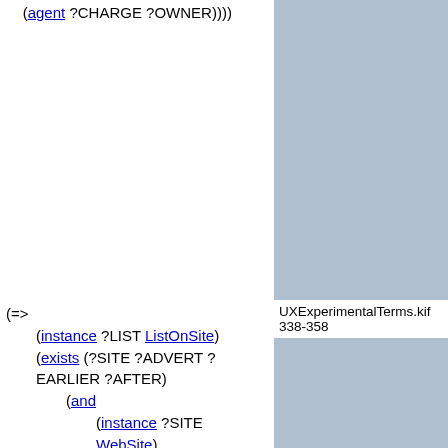(agent ?CHARGE ?OWNER))))
(=>
    (instance ?LIST ListOnSite)
    (exists (?SITE ?ADVERT ?EARLIER ?AFTER)
        (and
            (instance ?SITE WebSite)
            (instance ?ADVERT WebListing)
            (instance ?EARLIER TimeInterval)
            (instance ?AFTER TimeInterval)
UXExperimentalTerms.kif 338-358